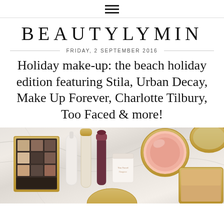≡
BEAUTYLYMIN
FRIDAY, 2 SEPTEMBER 2016
Holiday make-up: the beach holiday edition featuring Stila, Urban Decay, Make Up Forever, Charlotte Tilbury, Too Faced & more!
[Figure (photo): Flat lay photo of various makeup products including an eyeshadow palette, tubes, a lipstick, a small cream product (Too Faced), a blush compact, and a powder compact, all arranged on a marble surface.]